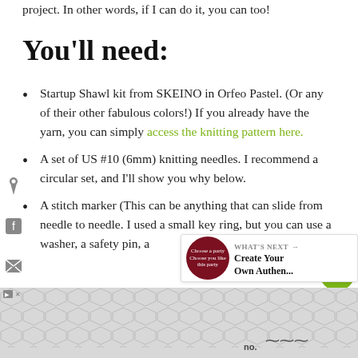project. In other words, if I can do it, you can too!
You'll need:
Startup Shawl kit from SKEINO in Orfeo Pastel. (Or any of their other fabulous colors!) If you already have the yarn, you can simply access the knitting pattern here.
A set of US #10 (6mm) knitting needles. I recommend a circular set, and I'll show you why below.
A stitch marker (This can be anything that can slide from needle to needle. I used a small key ring, but you can use a washer, a safety pin, a